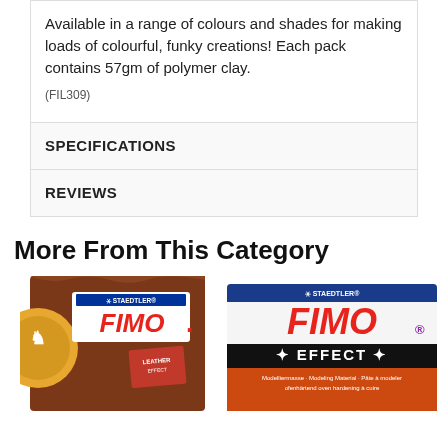Available in a range of colours and shades for making loads of colourful, funky creations! Each pack contains 57gm of polymer clay.
(FIL309)
SPECIFICATIONS
REVIEWS
More From This Category
[Figure (photo): FIMO leather effect polymer clay box, brown color]
[Figure (photo): STAEDTLER FIMO Effect modeling material box, orange/brown color]